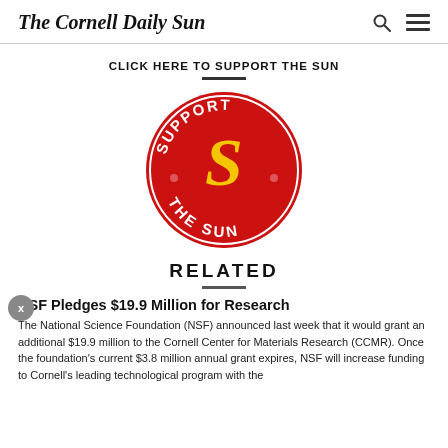The Cornell Daily Sun
CLICK HERE TO SUPPORT THE SUN
[Figure (logo): Support the Sun circular logo: red circle with yellow 'S' in center and text 'SUPPORT THE SUN' around the border]
RELATED
NSF Pledges $19.9 Million for Research
The National Science Foundation (NSF) announced last week that it would grant an additional $19.9 million to the Cornell Center for Materials Research (CCMR). Once the foundation's current $3.8 million annual grant expires, NSF will increase funding to Cornell's leading technological program with the